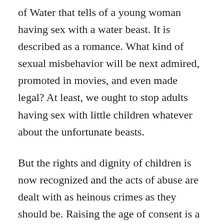of Water that tells of a young woman having sex with a water beast. It is described as a romance. What kind of sexual misbehavior will be next admired, promoted in movies, and even made legal? At least, we ought to stop adults having sex with little children whatever about the unfortunate beasts.
But the rights and dignity of children is now recognized and the acts of abuse are dealt with as heinous crimes as they should be. Raising the age of consent is a step forward. The human race is making progress however slowly and much more has yet to be done to reverse its deeply